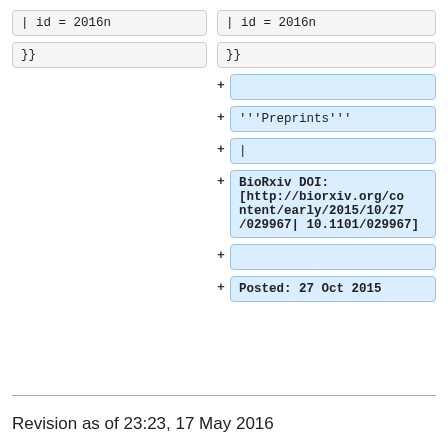| id = 2016n
| id = 2016n
}}
}}
+ (empty added line)
+ '''Preprints'''
+ (short added line)
+ BioRxiv DOI: [http://biorxiv.org/content/early/2015/10/27/029967| 10.1101/029967]
+ (empty added line)
+ Posted: 27 Oct 2015
Revision as of 23:23, 17 May 2016